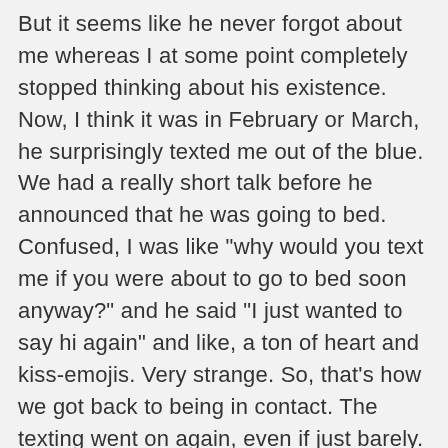But it seems like he never forgot about me whereas I at some point completely stopped thinking about his existence. Now, I think it was in February or March, he surprisingly texted me out of the blue. We had a really short talk before he announced that he was going to bed. Confused, I was like "why would you text me if you were about to go to bed soon anyway?" and he said "I just wanted to say hi again" and like, a ton of heart and kiss-emojis. Very strange. So, that's how we got back to being in contact. The texting went on again, even if just barely. (He's still not a great texter lol) Then, after I had let him hanging on a string for over a year I finally agreed to meeting him in real life. Obviously, he wanted to have sex with me. And I wanted to have sex with him. I